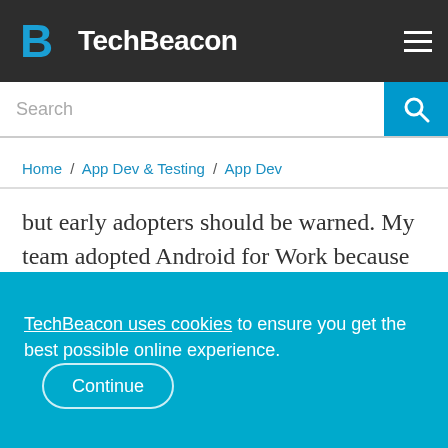TechBeacon
Search
Home / App Dev & Testing / App Dev
but early adopters should be warned. My team adopted Android for Work because we see significant value in adding Android to our mobile ecosystem, but being an early adopter comes at a price. Here are issues we have managed:
TechBeacon uses cookies to ensure you get the best possible online experience. Continue